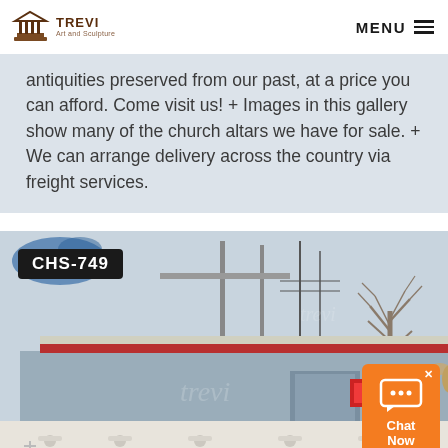TREVI Art and Sculpture — MENU
antiquities preserved from our past, at a price you can afford. Come visit us! + Images in this gallery show many of the church altars we have for sale. + We can arrange delivery across the country via freight services.
[Figure (photo): Outdoor photo of a building/workshop with church altar stonework in the foreground, two stone angel sculptures on a rooftop, a bare tree, and a billboard/sign structure. Labeled CHS-749. A chat widget is overlaid in the bottom right corner.]